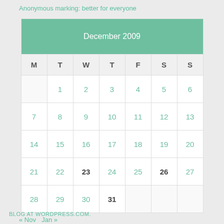Anonymous marking: better for everyone
| M | T | W | T | F | S | S |
| --- | --- | --- | --- | --- | --- | --- |
|  | 1 | 2 | 3 | 4 | 5 | 6 |
| 7 | 8 | 9 | 10 | 11 | 12 | 13 |
| 14 | 15 | 16 | 17 | 18 | 19 | 20 |
| 21 | 22 | 23 | 24 | 25 | 26 | 27 |
| 28 | 29 | 30 | 31 |  |  |  |
« Nov   Jan »
BLOG AT WORDPRESS.COM.